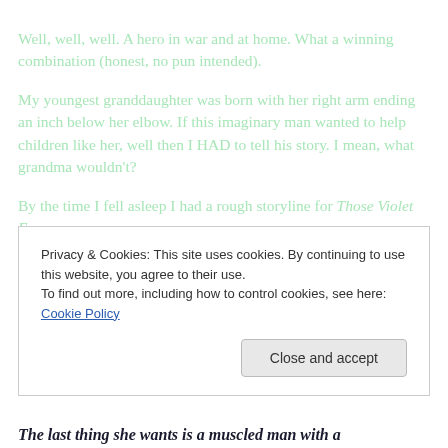Well, well, well. A hero in war and at home. What a winning combination (honest, no pun intended).
My youngest granddaughter was born with her right arm ending an inch below her elbow. If this imaginary man wanted to help children like her, well then I HAD to tell his story. I mean, what grandma wouldn't?
By the time I fell asleep I had a rough storyline for Those Violet Eyes.
Privacy & Cookies: This site uses cookies. By continuing to use this website, you agree to their use.
To find out more, including how to control cookies, see here: Cookie Policy
Close and accept
The last thing she wants is a muscled man with a